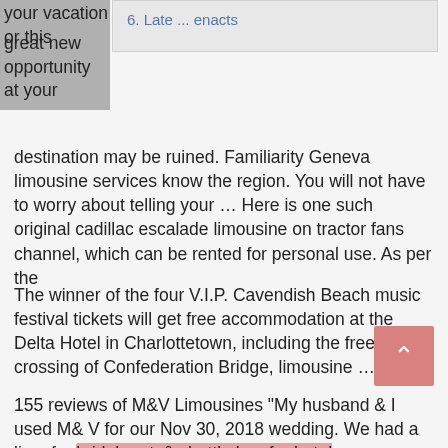your vacation or this great new opportunity at your destination may be ruined. Familiarity Geneva limousine services know the region. You will not have to worry about telling your ... Here is one such original cadillac escalade limousine on tractor fans channel, which can be rented for personal use. As per the
6. Late ... enacts
The winner of the four V.I.P. Cavendish Beach music festival tickets will get free accommodation at the Delta Hotel in Charlottetown, including the free crossing of Confederation Bridge, limousine ...
155 reviews of M&V Limousines "My husband & I used M& V for our Nov 30, 2018 wedding. We had a limo for bridal party& shuttle bus for hotel transportation. Everyone was on time,both vehicles were clean and the drivers were both so friendly. Their...